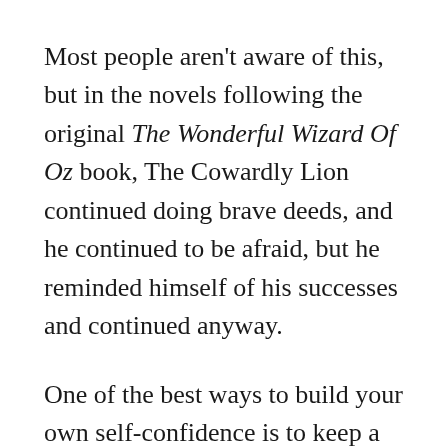Most people aren't aware of this, but in the novels following the original The Wonderful Wizard Of Oz book, The Cowardly Lion continued doing brave deeds, and he continued to be afraid, but he reminded himself of his successes and continued anyway.
One of the best ways to build your own self-confidence is to keep a journal of your own victories over fear and to regularly reread them to give yourself courage. We all tend to get fixated on our failures, but having a record of your successes is a good way to